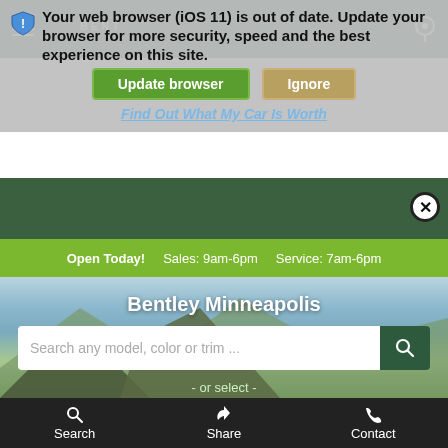[Figure (screenshot): Mobile browser 'Your web browser (iOS 11) is out of date' warning banner with Update browser and Ignore buttons, overlaid on a Bentley Minneapolis dealership website showing hours bar, hero image with mountain landscape, search bar, and bottom navigation.]
Your web browser (iOS 11) is out of date. Update your browser for more security, speed and the best experience on this site.
Update browser
Ignore
Find Out What My Car Is Worth
Open Today!   Sales: 9am-6pm   Service: 7am-6pm
Bentley Minneapolis
Search any model, color or trim ...
- or select -
Type
Year
Search   Share   Contact